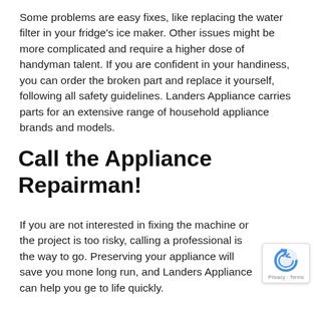Some problems are easy fixes, like replacing the water filter in your fridge's ice maker. Other issues might be more complicated and require a higher dose of handyman talent. If you are confident in your handiness, you can order the broken part and replace it yourself, following all safety guidelines. Landers Appliance carries parts for an extensive range of household appliance brands and models.
Call the Appliance Repairman!
If you are not interested in fixing the machine or the project is too risky, calling a professional is the way to go. Preserving your appliance will save you mone long run, and Landers Appliance can help you ge to life quickly.